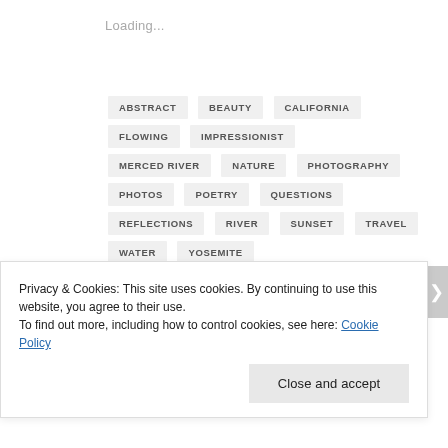Loading...
ABSTRACT
BEAUTY
CALIFORNIA
FLOWING
IMPRESSIONIST
MERCED RIVER
NATURE
PHOTOGRAPHY
PHOTOS
POETRY
QUESTIONS
REFLECTIONS
RIVER
SUNSET
TRAVEL
WATER
YOSEMITE
Privacy & Cookies: This site uses cookies. By continuing to use this website, you agree to their use.
To find out more, including how to control cookies, see here: Cookie Policy
Close and accept